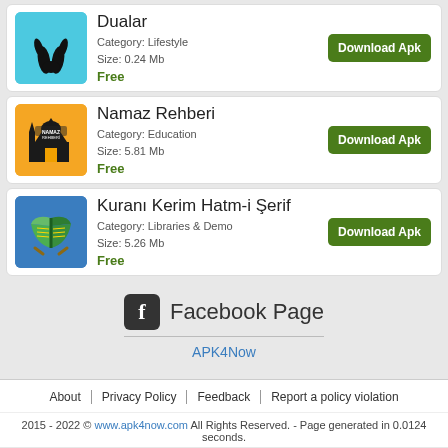[Figure (screenshot): App listing card: Dualar - Category: Lifestyle, Size: 0.24 Mb, Free, Download Apk button. Icon shows praying hands on cyan background.]
[Figure (screenshot): App listing card: Namaz Rehberi - Category: Education, Size: 5.81 Mb, Free, Download Apk button. Icon shows mosque on orange background.]
[Figure (screenshot): App listing card: Kuranı Kerim Hatm-i Şerif - Category: Libraries & Demo, Size: 5.26 Mb, Free, Download Apk button. Icon shows open Quran on blue background.]
Facebook Page
APK4Now
About | Privacy Policy | Feedback | Report a policy violation
2015 - 2022 © www.apk4now.com All Rights Reserved. - Page generated in 0.0124 seconds.